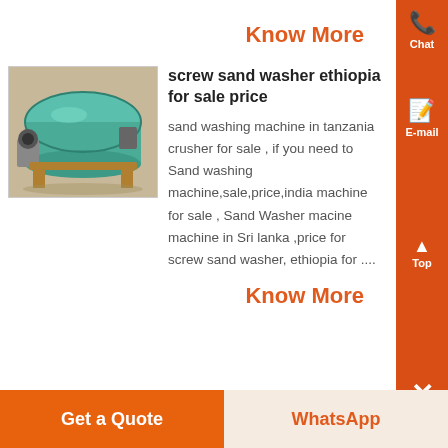Know More
screw sand washer ethiopia for sale price
[Figure (photo): Industrial screw sand washer machine, teal/green colored, photographed in a factory setting]
sand washing machine in tanzania crusher for sale , if you need to Sand washing machine,sale,price,india machine for sale , Sand Washer macine machine in Sri lanka ,price for screw sand washer, ethiopia for ....
Know More